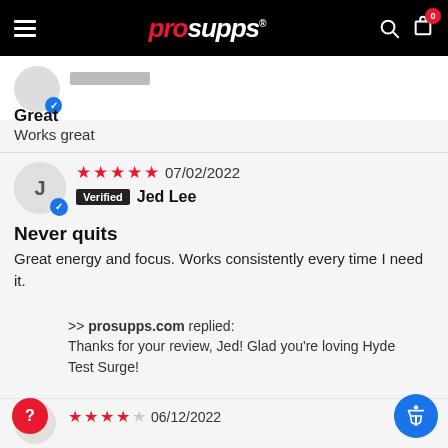[Figure (screenshot): ProSupps website navigation bar with hamburger menu, logo, search and cart icons]
Great
Works great
★★★★★ 07/02/2022
Verified  Jed Lee
Never quits
Great energy and focus. Works consistently every time I need it.
>> prosupps.com replied:
Thanks for your review, Jed! Glad you're loving Hyde Test Surge!
★★★★☆ 06/12/2022